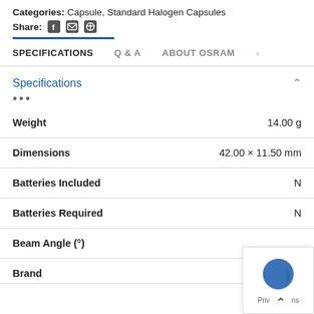Categories: Capsule, Standard Halogen Capsules
Share: [facebook] [email] [pinterest]
SPECIFICATIONS | Q & A | ABOUT OSRAM
Specifications
| Specification | Value |
| --- | --- |
| Weight | 14.00 g |
| Dimensions | 42.00 × 11.50 mm |
| Batteries Included | N |
| Batteries Required | N |
| Beam Angle (°) |  |
| Brand | Osram |